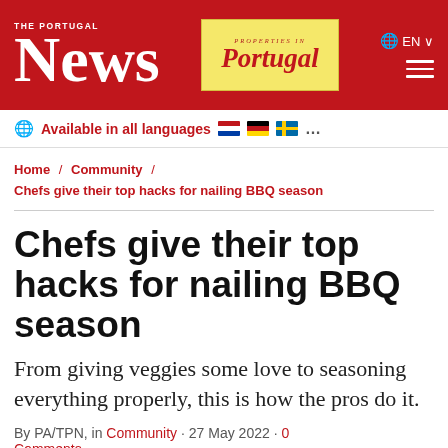THE PORTUGAL News
Available in all languages ...
Home / Community / Chefs give their top hacks for nailing BBQ season
Chefs give their top hacks for nailing BBQ season
From giving veggies some love to seasoning everything properly, this is how the pros do it.
By PA/TPN, in Community · 27 May 2022 · 0 Comments